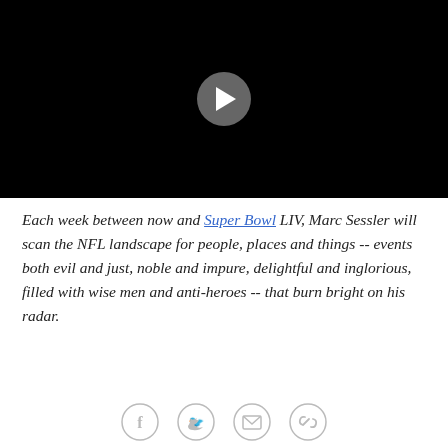[Figure (other): Black video player thumbnail with a circular gray play button in the center]
Each week between now and Super Bowl LIV, Marc Sessler will scan the NFL landscape for people, places and things -- events both evil and just, noble and impure, delightful and inglorious, filled with wise men and anti-heroes -- that burn bright on his radar.
Here's this week's briefing:
[Figure (other): Social sharing icons: Facebook, Twitter, Email, Link]